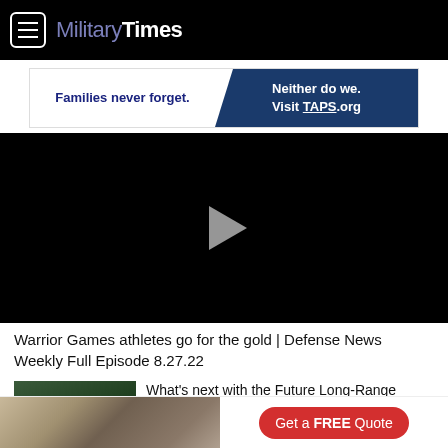Military Times
[Figure (other): Advertisement banner: 'Families never forget. Neither do we. Visit TAPS.org']
[Figure (other): Black video player with play button in center]
Warrior Games athletes go for the gold | Defense News Weekly Full Episode 8.27.22
[Figure (photo): Thumbnail image of helicopter/aircraft, dark green toned photo]
What's next with the Future Long-Range Assault Aircraft?
[Figure (other): Bottom advertisement: kitchen image with 'Get a FREE Quote' button]